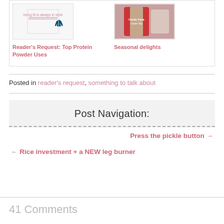[Figure (illustration): Two related blog post cards side by side. Left card shows a fitness blog image with text 'being fit is always in style' and a hanger icon. Right card shows a product image with a red and green package (Candy Cane Green Tea or similar seasonal product).]
Reader's Request: Top Protein Powder Uses
Seasonal delights
Posted in reader's request, something to talk about
Post Navigation:
Press the pickle button →
← Rice investment + a NEW leg burner
41 Comments